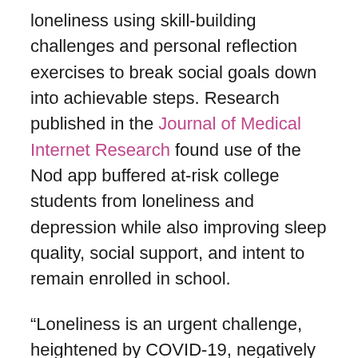loneliness using skill-building challenges and personal reflection exercises to break social goals down into achievable steps. Research published in the Journal of Medical Internet Research found use of the Nod app buffered at-risk college students from loneliness and depression while also improving sleep quality, social support, and intent to remain enrolled in school.
“Loneliness is an urgent challenge, heightened by COVID-19, negatively impacting teens and putting them a higher risk for mental health issues from anxiety and depression to self-harm and suicidal ideation,” said CEI President and CEO Rebecca Holmes. “CEI is keenly interested in strategies and activities that build student social connection and prevent loneliness and depression, especially for